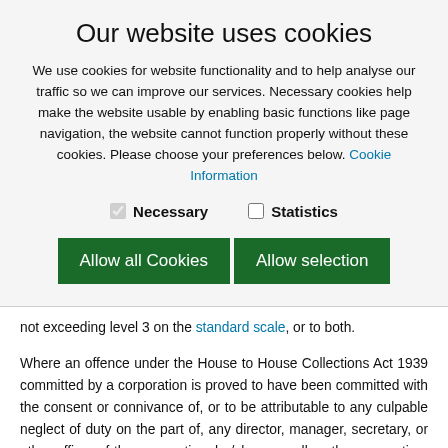Our website uses cookies
We use cookies for website functionality and to help analyse our traffic so we can improve our services. Necessary cookies help make the website usable by enabling basic functions like page navigation, the website cannot function properly without these cookies. Please choose your preferences below. Cookie Information
Necessary  Statistics
Allow all Cookies  Allow selection
not exceeding level 3 on the standard scale, or to both.
Where an offence under the House to House Collections Act 1939 committed by a corporation is proved to have been committed with the consent or connivance of, or to be attributable to any culpable neglect of duty on the part of, any director, manager, secretary, or other officer of the corporation, he/she, as well as the corporation, shall be deemed to be guilty of that offence and shall be liable to be proceeded against and